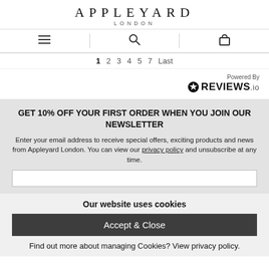APPLEYARD
LONDON
1 2 3 4 5 7 Last
Powered By
REVIEWS.io
GET 10% OFF YOUR FIRST ORDER WHEN YOU JOIN OUR NEWSLETTER
Enter your email address to receive special offers, exciting products and news from Appleyard London. You can view our privacy policy and unsubscribe at any time.
Our website uses cookies
Accept & Close
Find out more about managing Cookies? View privacy policy.